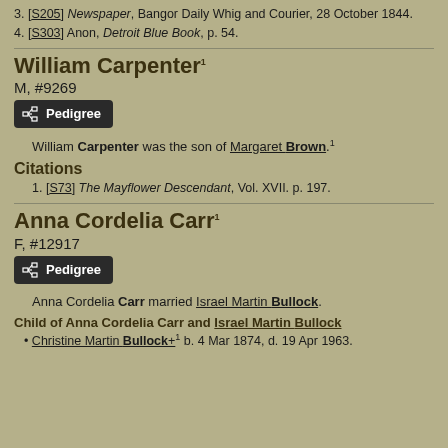3. [S205] Newspaper, Bangor Daily Whig and Courier, 28 October 1844.
4. [S303] Anon, Detroit Blue Book, p. 54.
William Carpenter¹
M, #9269
Pedigree [button]
William Carpenter was the son of Margaret Brown.¹
Citations
1. [S73] The Mayflower Descendant, Vol. XVII. p. 197.
Anna Cordelia Carr¹
F, #12917
Pedigree [button]
Anna Cordelia Carr married Israel Martin Bullock.
Child of Anna Cordelia Carr and Israel Martin Bullock
Christine Martin Bullock+¹ b. 4 Mar 1874, d. 19 Apr 1963.